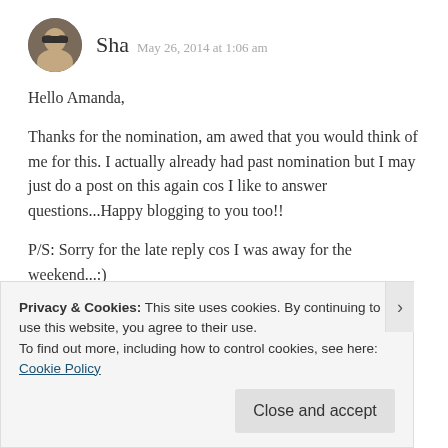[Figure (photo): Circular avatar photo of a woman wearing sunglasses]
Sha  May 26, 2014 at 1:06 am
Hello Amanda,

Thanks for the nomination, am awed that you would think of me for this. I actually already had past nomination but I may just do a post on this again cos I like to answer questions...Happy blogging to you too!!

P/S: Sorry for the late reply cos I was away for the weekend...:)
★ Like
Privacy & Cookies: This site uses cookies. By continuing to use this website, you agree to their use.
To find out more, including how to control cookies, see here:
Cookie Policy
Close and accept